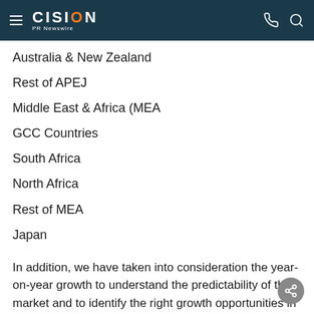CISION PR Newswire
Australia & New Zealand
Rest of APEJ
Middle East & Africa (MEA
GCC Countries
South Africa
North Africa
Rest of MEA
Japan
In addition, we have taken into consideration the year-on-year growth to understand the predictability of the market and to identify the right growth opportunities in the global antibodies market.